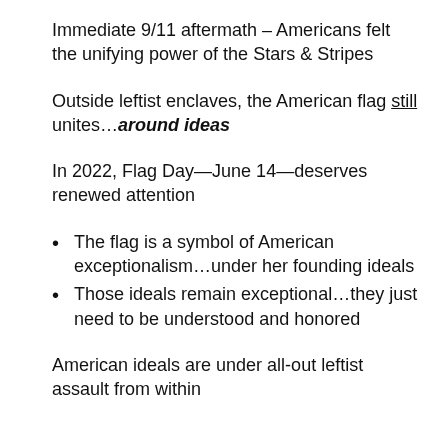Immediate 9/11 aftermath – Americans felt the unifying power of the Stars & Stripes
Outside leftist enclaves, the American flag still unites…around ideas
In 2022, Flag Day—June 14—deserves renewed attention
The flag is a symbol of American exceptionalism…under her founding ideals
Those ideals remain exceptional…they just need to be understood and honored
American ideals are under all-out leftist assault from within